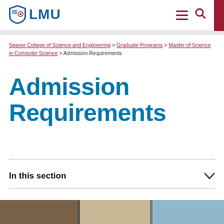LMU
Seaver College of Science and Engineering > Graduate Programs > Master of Science in Computer Science > Admission Requirements
Admission Requirements
In this section
[Figure (photo): Bottom photo strip showing students or campus scenes]